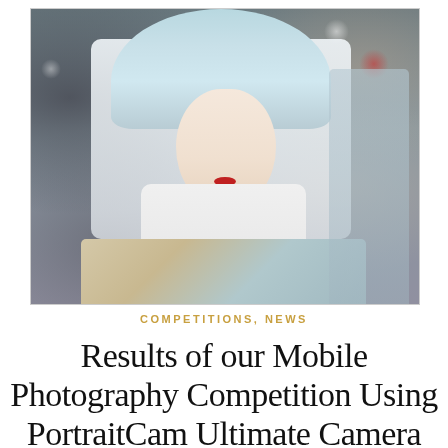[Figure (photo): Portrait photograph of a woman in traditional Russian kokoshnik headdress and ornate embroidered costume with white veil and pearl necklaces, photographed at what appears to be a cultural event or festival.]
COMPETITIONS, NEWS
Results of our Mobile Photography Competition Using PortraitCam Ultimate Camera App!